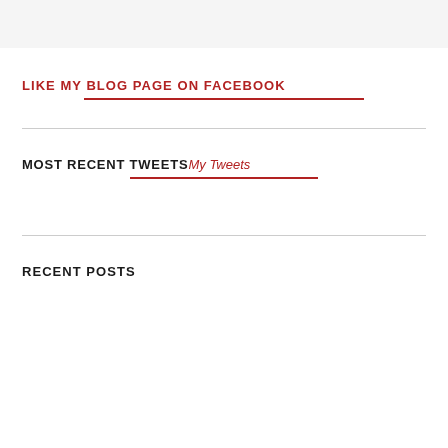LIKE MY BLOG PAGE ON FACEBOOK
MOST RECENT TWEETSMy Tweets
RECENT POSTS